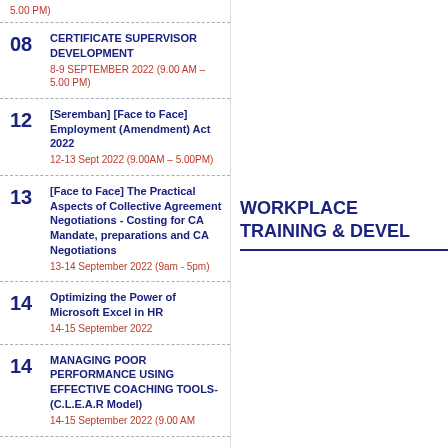5.00 PM)
08 CERTIFICATE SUPERVISOR DEVELOPMENT
8-9 SEPTEMBER 2022 (9.00 AM – 5.00 PM)
12 [Seremban] [Face to Face] Employment (Amendment) Act 2022
12-13 Sept 2022 (9.00AM – 5.00PM)
13 [Face to Face] The Practical Aspects of Collective Agreement Negotiations - Costing for CA Mandate, preparations and CA Negotiations
13-14 September 2022 (9am - 5pm)
14 Optimizing the Power of Microsoft Excel in HR
14-15 September 2022
14 MANAGING POOR PERFORMANCE USING EFFECTIVE COACHING TOOLS-(C.L.E.A.R Model)
14-15 September 2022 (9.00 AM
WORKPLACE TRAINING & DEVEL